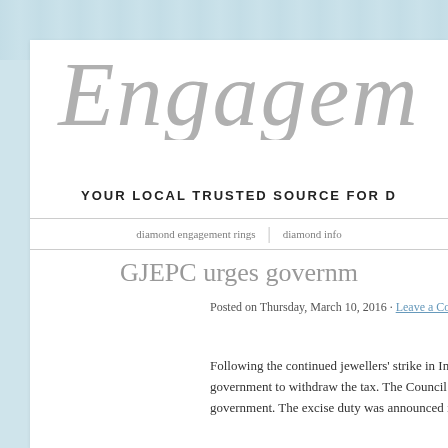Engagement
YOUR LOCAL TRUSTED SOURCE FOR D
diamond engagement rings | diamond info
GJEPC urges governm
Posted on Thursday, March 10, 2016 · Leave a Comment
Following the continued jewellers' strike in India, against the 1 percen government to withdraw the tax. The Council noted that it supports th government. The excise duty was announced in the Union Budget 20